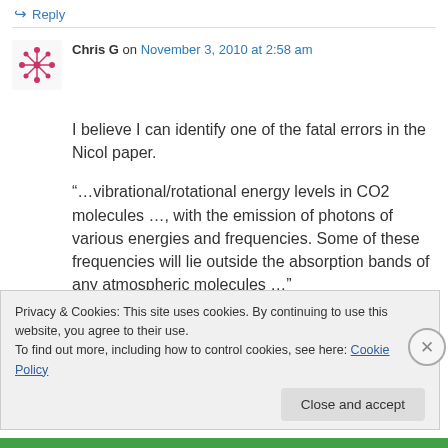↪ Reply
[Figure (illustration): Avatar icon for user Chris G — decorative snowflake/molecule pattern in pink/red on white background]
Chris G on November 3, 2010 at 2:58 am
I believe I can identify one of the fatal errors in the Nicol paper.
“…vibrational/rotational energy levels in CO2 molecules …, with the emission of photons of various energies and frequencies. Some of these frequencies will lie outside the absorption bands of any atmospheric molecules …”
Privacy & Cookies: This site uses cookies. By continuing to use this website, you agree to their use.
To find out more, including how to control cookies, see here: Cookie Policy
Close and accept